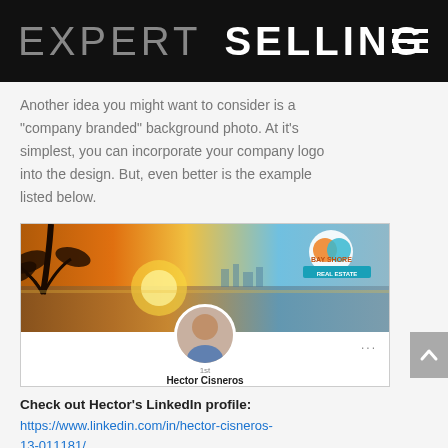EXPERT SELLING
Another idea you might want to consider is a “company branded” background photo. At it’s simplest, you can incorporate your company logo into the design. But, even better is the example listed below.
[Figure (screenshot): Screenshot of Hector Cisneros’ LinkedIn profile showing a company branded background image with a beach and palm tree sunset scene, Bay Shore Real Estate logo in top right, circular profile photo of Hector Cisneros, and his name below.]
Check out Hector’s LinkedIn profile:
https://www.linkedin.com/in/hector-cisneros-13-011181/